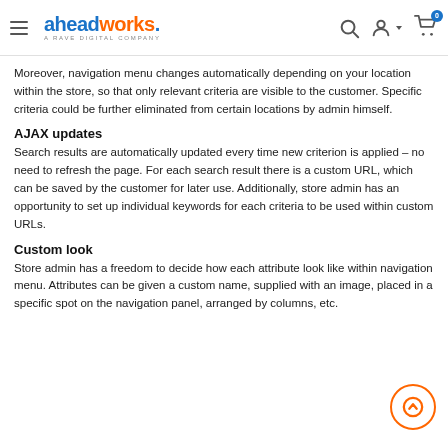aheadworks. A RAVE DIGITAL COMPANY
Moreover, navigation menu changes automatically depending on your location within the store, so that only relevant criteria are visible to the customer. Specific criteria could be further eliminated from certain locations by admin himself.
AJAX updates
Search results are automatically updated every time new criterion is applied – no need to refresh the page. For each search result there is a custom URL, which can be saved by the customer for later use. Additionally, store admin has an opportunity to set up individual keywords for each criteria to be used within custom URLs.
Custom look
Store admin has a freedom to decide how each attribute look like within navigation menu. Attributes can be given a custom name, supplied with an image, placed in a specific spot on the navigation panel, arranged by columns, etc.